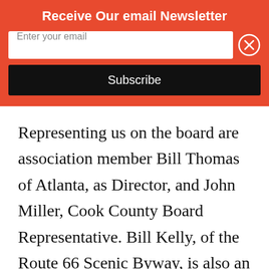Receive Our email Newsletter
[Figure (screenshot): Email newsletter signup widget with orange background, email input field, close button, and Subscribe button]
Representing us on the board are association member Bill Thomas of Atlanta, as Director, and John Miller, Cook County Board Representative. Bill Kelly, of the Route 66 Scenic Byway, is also an active member. Illinois is well represented. I think we bring a nice balance to the eight-state group.
We are waiting to see how the act to make